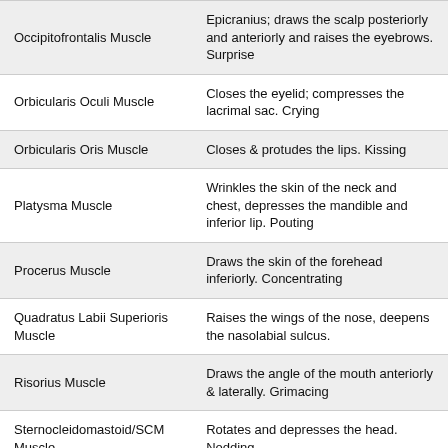| Muscle | Description |
| --- | --- |
| Occipitofrontalis Muscle | Epicranius; draws the scalp posteriorly and anteriorly and raises the eyebrows. Surprise |
| Orbicularis Oculi Muscle | Closes the eyelid; compresses the lacrimal sac. Crying |
| Orbicularis Oris Muscle | Closes & protudes the lips. Kissing |
| Platysma Muscle | Wrinkles the skin of the neck and chest, depresses the mandible and inferior lip. Pouting |
| Procerus Muscle | Draws the skin of the forehead inferiorly. Concentrating |
| Quadratus Labii Superioris Muscle | Raises the wings of the nose, deepens the nasolabial sulcus. |
| Risorius Muscle | Draws the angle of the mouth anteriorly & laterally. Grimacing |
| Sternocleidomastoid/SCM Muscle | Rotates and depresses the head. Nodding |
| (partial) | Closes the... |